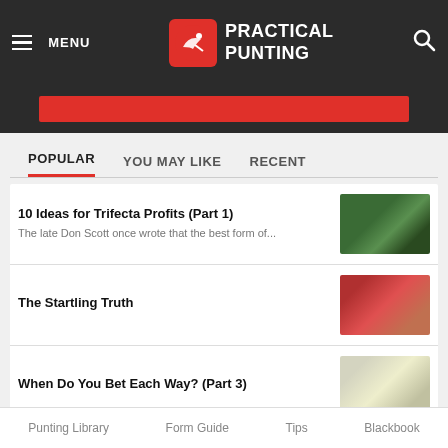MENU | PRACTICAL PUNTING
POPULAR   YOU MAY LIKE   RECENT
10 Ideas for Trifecta Profits (Part 1) — The late Don Scott once wrote that the best form of...
The Startling Truth
When Do You Bet Each Way? (Part 3)
Track Secrets (Part 3)
Punting Library   Form Guide   Tips   Blackbook